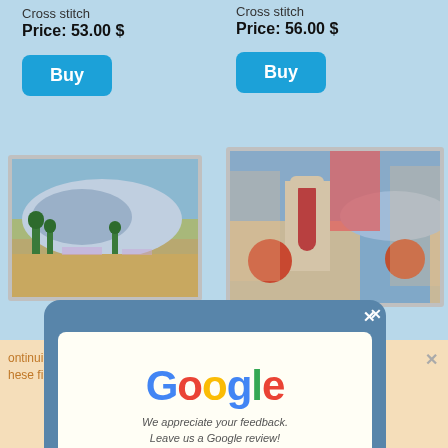Cross stitch
Price: 53.00 $
Buy
Cross stitch
Price: 56.00 $
Buy
[Figure (photo): Cross stitch embroidery kit showing a landscape with mountains, cypress trees and lavender fields in a grey frame]
[Figure (photo): Cross stitch embroidery kit showing a Mediterranean scene with red door, flowers and coastal view in a grey frame]
[Figure (screenshot): Google review popup card on blue rounded background with Google logo, tagline 'We appreciate your feedback. Leave us a Google review!' and five gold stars, with X close button]
ss stitch kit On the st 32x24cm Aida embroidery llen int kit
ontinuing to use the site, hese files.
Ok
Privacy policy